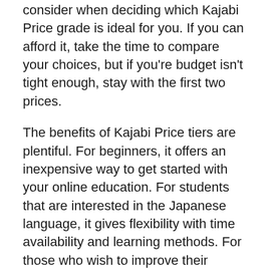As you can see, there are a whole lot of factors to consider when deciding which Kajabi Price grade is ideal for you. If you can afford it, take the time to compare your choices, but if you're budget isn't tight enough, stay with the first two prices.
The benefits of Kajabi Price tiers are plentiful. For beginners, it offers an inexpensive way to get started with your online education. For students that are interested in the Japanese language, it gives flexibility with time availability and learning methods. For those who wish to improve their Japanese, it is a great learning tool.
It is important to bear in mind that the first price doesn't always mean the best deal. Many websites will charge a higher price for one reason or another. To determine what would be